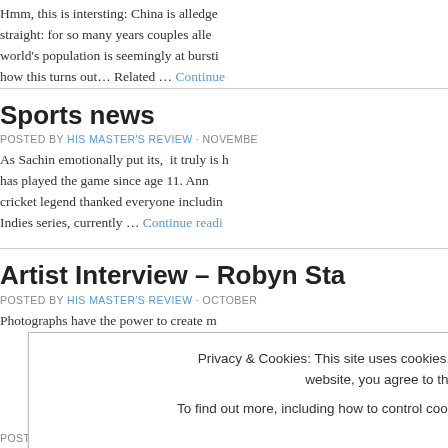Hmm, this is intersting: China is alledge... straight: for so many years couples alle... world's population is seemingly at bursti... how this turns out... Related … Continue
Sports news
POSTED BY HIS MASTER'S REVIEW · NOVEMBER
As Sachin emotionally put its, it truly is h... has played the game since age 11. Ann... cricket legend thanked everyone includin... Indies series, currently … Continue readi
Artist Interview – Robyn Sta
POSTED BY HIS MASTER'S REVIEW · OCTOBER
Photographs have the power to create m...
Privacy & Cookies: This site uses cookies. By continuing to use this website, you agree to their use.
To find out more, including how to control cookies, see here: Cookie Policy
Close and accept
POSTED BY HIS MASTER'S REVIEW · SEPTEMBER